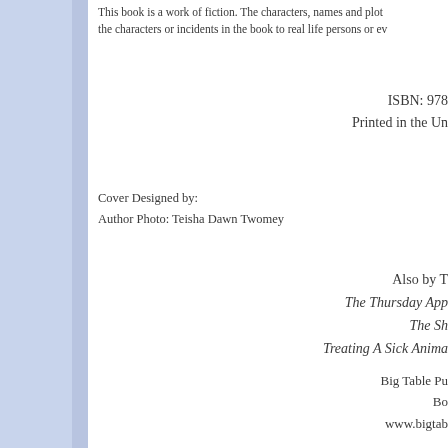This book is a work of fiction. The characters, names and plot... the characters or incidents in the book to real life persons or ev...
ISBN: 978...
Printed in the Un...
Cover Designed by:
Author Photo: Teisha Dawn Twomey
Also by T...
The Thursday App...
The Sh...
Treating A Sick Anima...
Big Table Pu...
Bo...
www.bigtab...